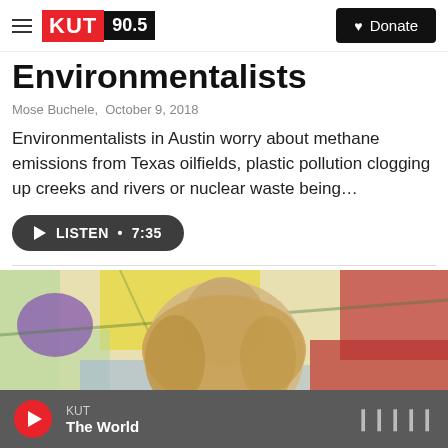KUT 90.5 | Donate
Environmentalists
Mose Buchele,  October 9, 2018
Environmentalists in Austin worry about methane emissions from Texas oilfields, plastic pollution clogging up creeks and rivers or nuclear waste being…
LISTEN • 7:35
[Figure (photo): A person with blond hair looking down at a colorful zoning map with purple, yellow, red, green, and blue regions.]
KUT | The World